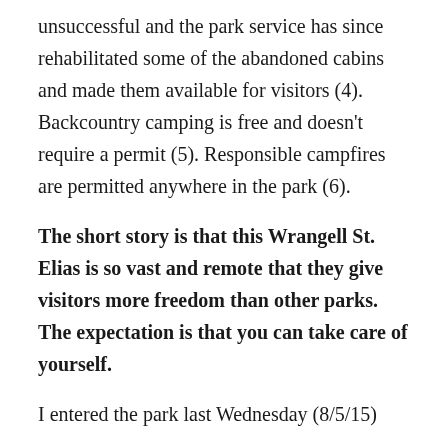unsuccessful and the park service has since rehabilitated some of the abandoned cabins and made them available for visitors (4). Backcountry camping is free and doesn't require a permit (5). Responsible campfires are permitted anywhere in the park (6).
The short story is that this Wrangell St. Elias is so vast and remote that they give visitors more freedom than other parks. The expectation is that you can take care of yourself.
I entered the park last Wednesday (8/5/15)